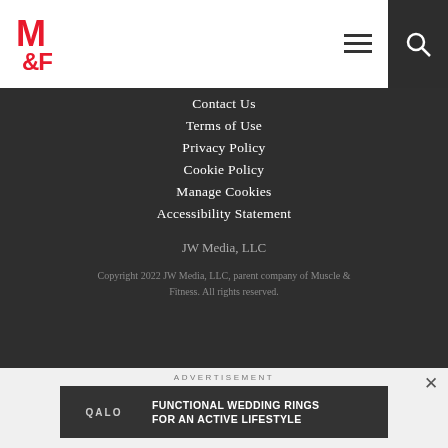[Figure (logo): M&F Muscle & Fitness red logo top left]
Contact Us
Terms of Use
Privacy Policy
Cookie Policy
Manage Cookies
Accessibility Statement
JW Media, LLC
Copyright 2022 JW Media, LLC, parent company of Muscle & Fitness. All rights reserved.
[Figure (logo): Two circular TAG logos side by side]
ADVERTISEMENT
[Figure (infographic): QALO advertisement banner: FUNCTIONAL WEDDING RINGS FOR AN ACTIVE LIFESTYLE]